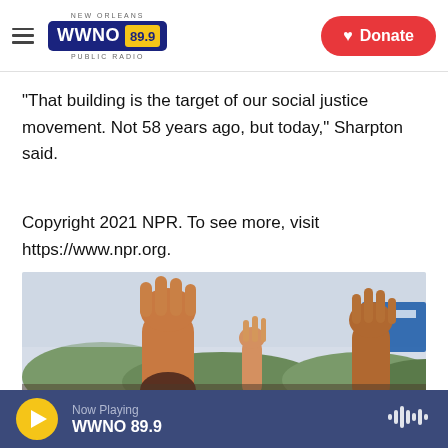NEW ORLEANS WWNO 89.9 PUBLIC RADIO | Donate
"That building is the target of our social justice movement. Not 58 years ago, but today," Sharpton said.
Copyright 2021 NPR. To see more, visit https://www.npr.org.
[Figure (photo): People raising hands at a rally or protest, with trees visible in the background.]
Now Playing WWNO 89.9